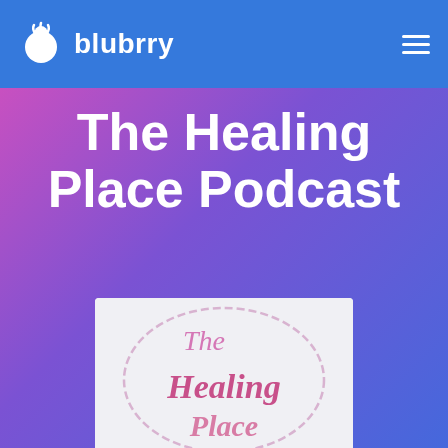blubrry
The Healing Place Podcast
[Figure (logo): The Healing Place Podcast logo: circular watercolor illustration with handwritten calligraphy text 'The Healing Place' in pink/magenta tones on a light background]